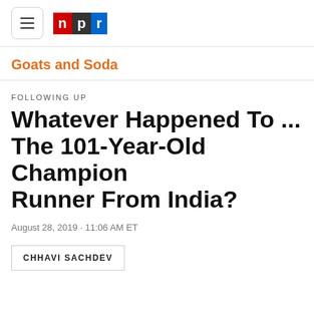NPR - Goats and Soda
Goats and Soda
FOLLOWING UP
Whatever Happened To ... The 101-Year-Old Champion Runner From India?
August 28, 2019 · 11:06 AM ET
CHHAVI SACHDEV